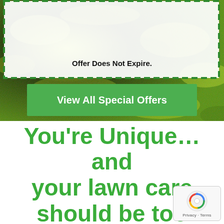[Figure (photo): Green lawn/grass background with a white dashed-border coupon box containing offer text and a green button labeled 'View All Special Offers']
Offer Does Not Expire.
View All Special Offers
You're Unique… and your lawn care should be too
[Figure (logo): Google reCAPTCHA badge with spinning arrows icon and 'Privacy · Terms' text]